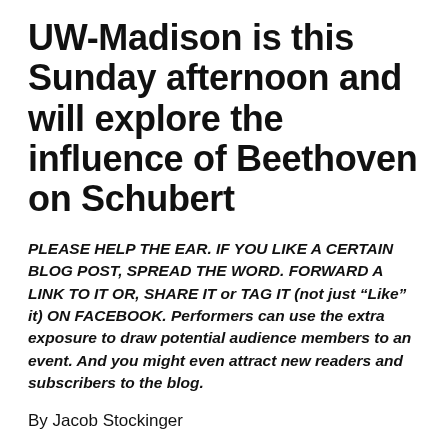UW-Madison is this Sunday afternoon and will explore the influence of Beethoven on Schubert
PLEASE HELP THE EAR. IF YOU LIKE A CERTAIN BLOG POST, SPREAD THE WORD. FORWARD A LINK TO IT OR, SHARE IT or TAG IT (not just “Like” it) ON FACEBOOK. Performers can use the extra exposure to draw potential audience members to an event. And you might even attract new readers and subscribers to the blog.
By Jacob Stockinger
This coming Sunday afternoon, Jan. 26, is the seventh annual UW Schubertiade – named after the evening